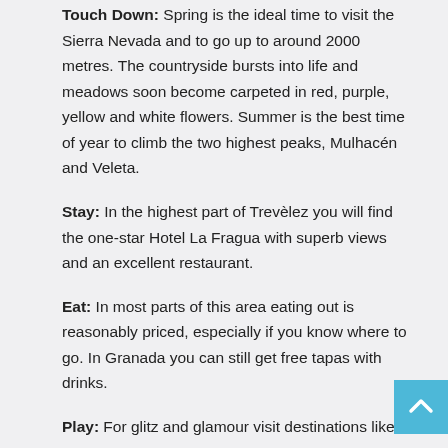Touch Down: Spring is the ideal time to visit the Sierra Nevada and to go up to around 2000 metres. The countryside bursts into life and meadows soon become carpeted in red, purple, yellow and white flowers. Summer is the best time of year to climb the two highest peaks, Mulhacén and Veleta.
Stay: In the highest part of Trevèlez you will find the one-star Hotel La Fragua with superb views and an excellent restaurant.
Eat: In most parts of this area eating out is reasonably priced, especially if you know where to go. In Granada you can still get free tapas with drinks.
Play: For glitz and glamour visit destinations like